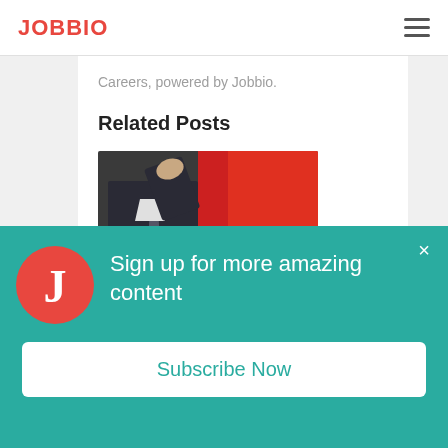JOBBIO
Careers, powered by Jobbio.
Related Posts
[Figure (photo): A man in a suit with a tie, red background lighting, with text overlay reading 'FINTE' (partial)]
Sign up for more amazing content
Subscribe Now